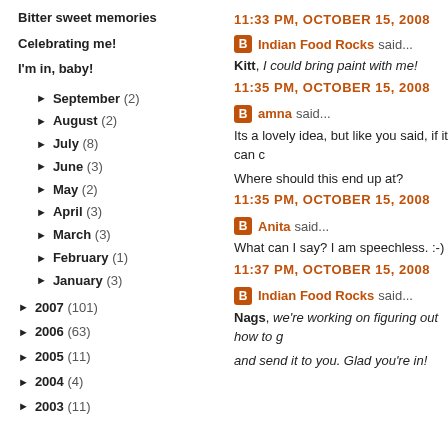Bitter sweet memories
Celebrating me!
I'm in, baby!
► September (2)
► August (2)
► July (8)
► June (3)
► May (2)
► April (3)
► March (3)
► February (1)
► January (3)
► 2007 (101)
► 2006 (63)
► 2005 (11)
► 2004 (4)
► 2003 (11)
11:33 PM, OCTOBER 15, 2008
Indian Food Rocks said...
Kitt, I could bring paint with me!
11:35 PM, OCTOBER 15, 2008
amna said...
Its a lovely idea, but like you said, if it can c...
Where should this end up at?
11:35 PM, OCTOBER 15, 2008
Anita said...
What can I say? I am speechless. :-)
11:37 PM, OCTOBER 15, 2008
Indian Food Rocks said...
Nags, we're working on figuring out how to g... and send it to you. Glad you're in!